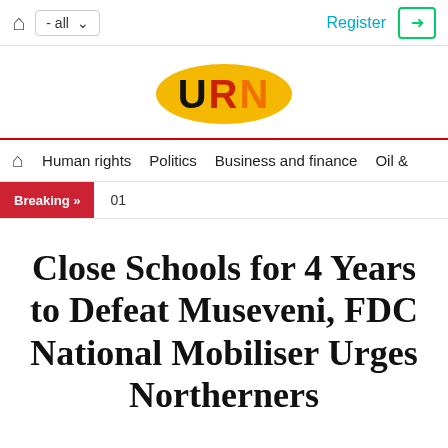Home  - all  Register  Login
[Figure (logo): URN logo — yellow oval with bold letters U (black), R (red), N (orange)]
Home  Human rights  Politics  Business and finance  Oil &
Breaking »  01
Close Schools for 4 Years to Defeat Museveni, FDC National Mobiliser Urges Northerners